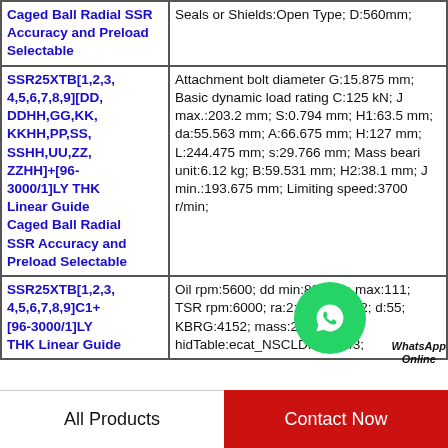| Product | Specifications |
| --- | --- |
| Caged Ball Radial SSR Accuracy and Preload Selectable | Seals or Shields:Open Type; D:560mm; |
| SSR25XTB[1,2,3,4,5,6,7,8,9][DD,DDHH,GG,KK,KKHH,PP,SS,SSHH,UU,ZZ,ZZHH]+[96-3000/1]LY THK Linear Guide Caged Ball Radial SSR Accuracy and Preload Selectable | Attachment bolt diameter G:15.875 mm; Basic dynamic load rating C:125 kN; J max.:203.2 mm; S:0.794 mm; H1:63.5 mm; da:55.563 mm; A:66.675 mm; H:127 mm; L:244.475 mm; s:29.766 mm; Mass bearing unit:6.12 kg; B:59.531 mm; H2:38.1 mm; J min.:193.675 mm; Limiting speed:3700 r/min; |
| SSR25XTB[1,2,3,4,5,6,7,8,9]C1+[96-3000/1]LY THK Linear Guide | Oil rpm:5600; dd min:80; D_a max:111; TSR rpm:6000; ra:2; C:201; r1:2; d:55; KBRG:4152; mass:2.23; hidTable:ecat_NSCLDR; B_:43; |
All Products
Contact Now